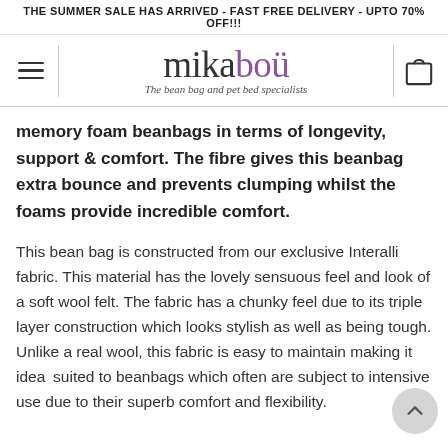THE SUMMER SALE HAS ARRIVED - FAST FREE DELIVERY - UPTO 70% OFF!!!
[Figure (logo): Mikabou logo with hamburger menu icon on left and shopping bag icon on right. Logo text reads 'mikabou' with 'The bean bag and pet bed specialists' beneath.]
memory foam beanbags in terms of longevity, support & comfort. The fibre gives this beanbag extra bounce and prevents clumping whilst the foams provide incredible comfort.
This bean bag is constructed from our exclusive Interalli fabric. This material has the lovely sensuous feel and look of a soft wool felt. The fabric has a chunky feel due to its triple layer construction which looks stylish as well as being tough. Unlike a real wool, this fabric is easy to maintain making it ideally suited to beanbags which often are subject to intensive use due to their superb comfort and flexibility.